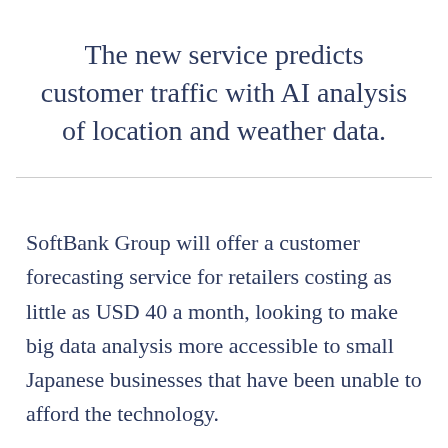The new service predicts customer traffic with AI analysis of location and weather data.
SoftBank Group will offer a customer forecasting service for retailers costing as little as USD 40 a month, looking to make big data analysis more accessible to small Japanese businesses that have been unable to afford the technology.
The Japanese tech company will start